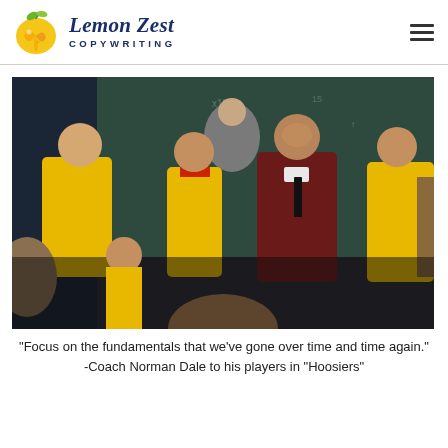Lemon Zest Copywriting
[Figure (photo): Scene from the movie Hoosiers: a coach (Norman Dale) talking intensely with his basketball players in a huddle, players wearing yellow jerseys, chalkboard visible in the background.]
"Focus on the fundamentals that we've gone over time and time again." -Coach Norman Dale to his players in "Hoosiers"